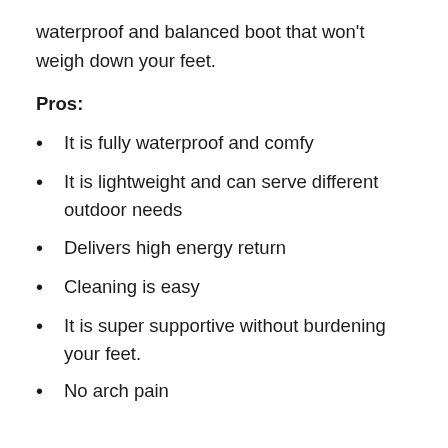waterproof and balanced boot that won't weigh down your feet.
Pros:
It is fully waterproof and comfy
It is lightweight and can serve different outdoor needs
Delivers high energy return
Cleaning is easy
It is super supportive without burdening your feet.
No arch pain